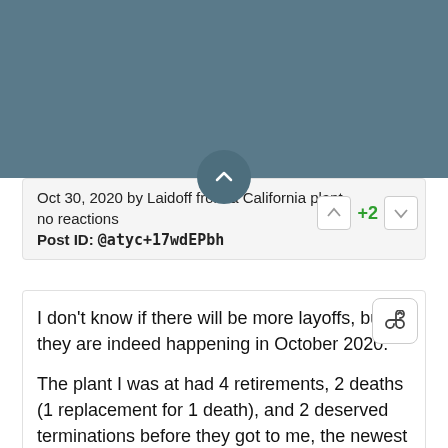[Figure (other): Teal/dark blue-gray header bar with a circular chevron/up-arrow button at the bottom center]
Oct 30, 2020 by Laidoff from a California plant.
no reactions
Post ID: @atyc+17wdEPbh
I don't know if there will be more layoffs, but they are indeed happening in October 2020.

The plant I was at had 4 retirements, 2 deaths (1 replacement for 1 death), and 2 deserved terminations before they got to me, the newest guy in a management position. I thought that getting rid of 8 people, as listed above, would have been enough to save them money but no.